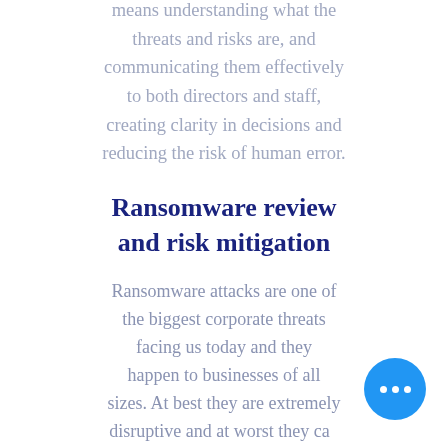means understanding what the threats and risks are, and communicating them effectively to both directors and staff, creating clarity in decisions and reducing the risk of human error.
Ransomware review and risk mitigation
Ransomware attacks are one of the biggest corporate threats facing us today and they happen to businesses of all sizes. At best they are extremely disruptive and at worst they can be fatally devastating to the firm's reputation and...